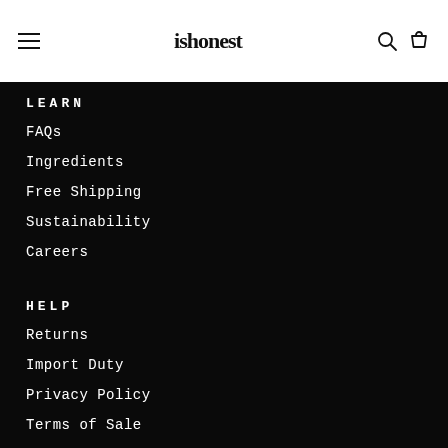ishonest
LEARN
FAQs
Ingredients
Free Shipping
Sustainability
Careers
HELP
Returns
Import Duty
Privacy Policy
Terms of Sale